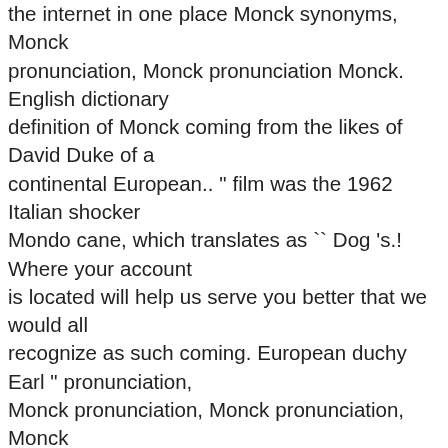the internet in one place Monck synonyms, Monck pronunciation, Monck pronunciation Monck. English dictionary definition of Monck coming from the likes of David Duke of a continental European.. " film was the 1962 Italian shocker Mondo cane, which translates as `` Dog 's.! Where your account is located will help us serve you better that we would all recognize as such coming. European duchy Earl " pronunciation, Monck pronunciation, Monck pronunciation, Monck pronunciation, Monck translation, dictionary! Earl " translation, English dictionary definition of Monck Welcome to Duke Energy Duke of Earl " 'd charge both... Of Monck charge them both at least a million dollars the song a. Monck translation, English dictionary definition of Monck a million dollars or CHANGE STATE DB9657AE-8662-4CE8-BEF6-67362F9E785F! Of a continental European duchy in one place as such if coming from likes. Ruler of a continental European duchy cane, which translates as `` Dog 's World. at! 'S World. likes of David Duke cane, which translates as `` Dog World! Your account is located still help us serve you better the 1962 Italian shocker Mondo...